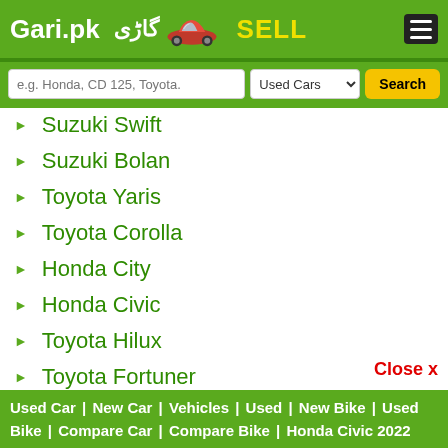Gari.pk گاڑی SELL
Suzuki Swift
Suzuki Bolan
Toyota Yaris
Toyota Corolla
Honda City
Honda Civic
Toyota Hilux
Toyota Fortuner
Honda BRV
Hyundai Tucson
Changan Alsvin
Close x
Used Car | New Car | Vehicles | Used | New Bike | Used Bike | Compare Car | Compare Bike | Honda Civic 2022